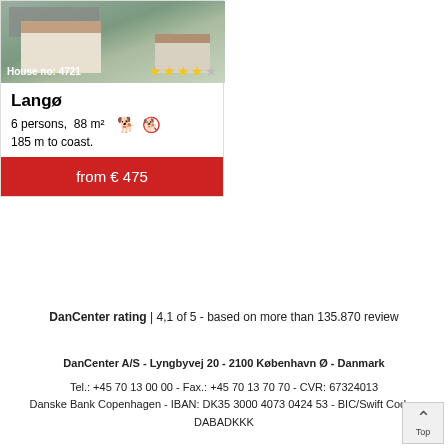[Figure (photo): Photo of a holiday house with deck and garden, shows house exterior]
Langø
6 persons,  88 m²  [no dogs]
185 m to coast.
from € 475
DanCenter rating | 4,1 of 5 - based on more than 135.870 review
DanCenter A/S - Lyngbyvej 20 - 2100 København Ø - Danmark
Tel.: +45 70 13 00 00 - Fax.: +45 70 13 70 70 - CVR: 67324013
Danske Bank Copenhagen - IBAN: DK35 3000 4073 0424 53 - BIC/Swift Code : DABADKKK